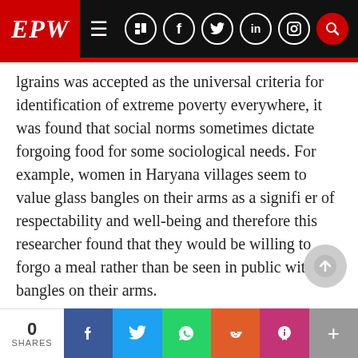EPW
lgrains was accepted as the universal criteria for identification of extreme poverty everywhere, it was found that social norms sometimes dictate forgoing food for some sociological needs. For example, women in Haryana villages seem to value glass bangles on their arms as a signifier of respectability and well-being and therefore this researcher found that they would be willing to forgo a meal rather than be seen in public without bangles on their arms.
In fact, Adam Smith was aware of the importance of this dimension and noted that customary standards also determine what a necessity is. He
0 SHARES